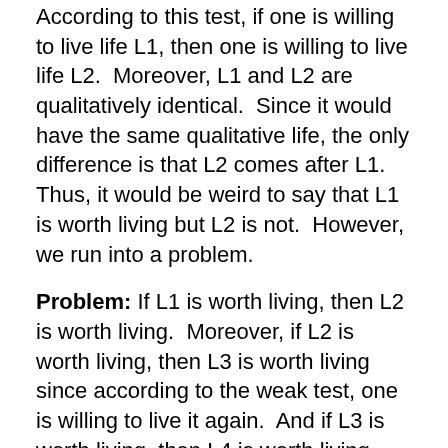According to this test, if one is willing to live life L1, then one is willing to live life L2.  Moreover, L1 and L2 are qualitatively identical.  Since it would have the same qualitative life, the only difference is that L2 comes after L1.  Thus, it would be weird to say that L1 is worth living but L2 is not.  However, we run into a problem.
Problem: If L1 is worth living, then L2 is worth living.  Moreover, if L2 is worth living, then L3 is worth living since according to the weak test, one is willing to live it again.  And if L3 is worth living, then L4 is worth living.  And so on.  There is no way to stop this regress; thus one must be willing to live this life for eternity.  Let's move to the next test.
Strong Recurrence Test: Life is worth living for a person iff that person should will to live an intrinsically similar life again.